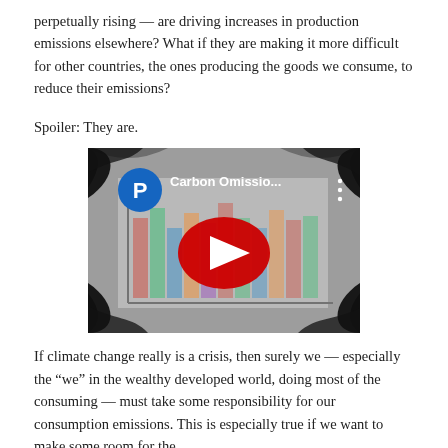perpetually rising — are driving increases in production emissions elsewhere? What if they are making it more difficult for other countries, the ones producing the goods we consume, to reduce their emissions?
Spoiler: They are.
[Figure (screenshot): YouTube video thumbnail for 'Carbon Omissio...' showing a blurred chart/graph image with a YouTube play button in the center and a 'P' channel icon in the upper left corner.]
If climate change really is a crisis, then surely we — especially the "we" in the wealthy developed world, doing most of the consuming — must take some responsibility for our consumption emissions. This is especially true if we want to make some room for the